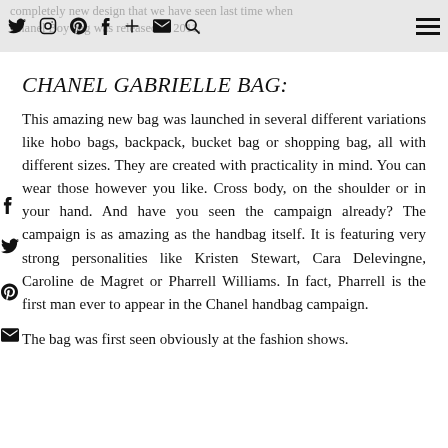completely new design that we have seen last time when Chanel Boy bag was released in 2011.
CHANEL GABRIELLE BAG:
This amazing new bag was launched in several different variations like hobo bags, backpack, bucket bag or shopping bag, all with different sizes. They are created with practicality in mind. You can wear those however you like. Cross body, on the shoulder or in your hand. And have you seen the campaign already? The campaign is as amazing as the handbag itself. It is featuring very strong personalities like Kristen Stewart, Cara Delevingne, Caroline de Magret or Pharrell Williams. In fact, Pharrell is the first man ever to appear in the Chanel handbag campaign.
The bag was first seen obviously at the fashion shows.